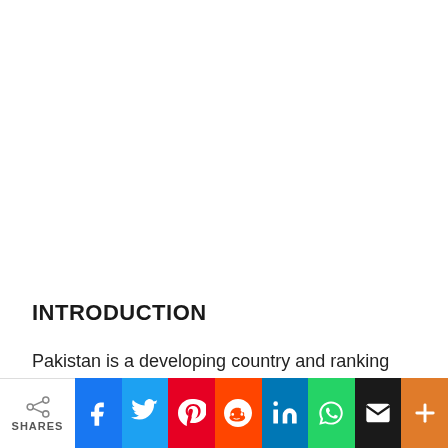INTRODUCTION
Pakistan is a developing country and ranking fifth most populous nation in the world. The growing population and depleting natural resources are
[Figure (other): Social media share bar with icons for Facebook, Twitter, Pinterest, Reddit, LinkedIn, WhatsApp, Email, and a plus button, along with a SHARES counter on the left.]